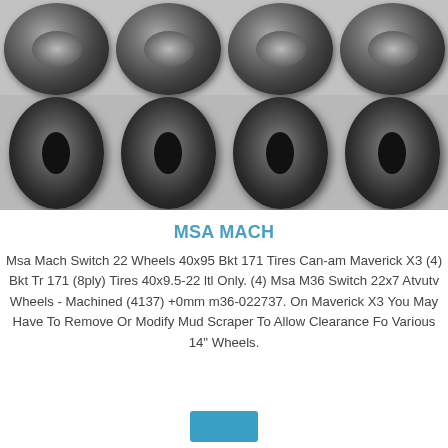[Figure (photo): Product image showing four ATV/UTV wheels in the top row and four large mud tires (BKT TR 171) in the bottom row arranged side by side on a grey background]
MSA MACH
Msa Mach Switch 22 Wheels 40x95 Bkt 171 Tires Can-am Maverick X3 (4) Bkt Tr 171 (8ply) Tires 40x9.5-22 ltl Only. (4) Msa M36 Switch 22x7 Atvutv Wheels - Machined (4137) +0mm m36-022737. On Maverick X3 You May Have To Remove Or Modify Mud Scraper To Allow Clearance Fo Various 14" Wheels.